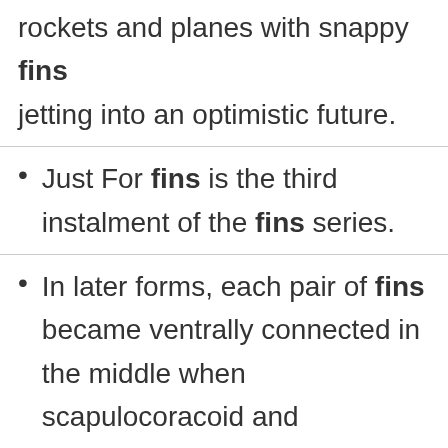rockets and planes with snappy fins jetting into an optimistic future.
Just For fins is the third instalment of the fins series.
In later forms, each pair of fins became ventrally connected in the middle when scapulocoracoid and pubioischiadic bars evolved.
The fins are a satiny fabric which my daughter likes to rub between her